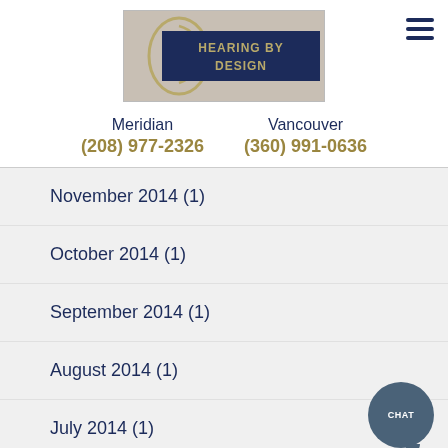[Figure (logo): Hearing by Design logo with ear graphic and dark navy banner with gold text]
Meridian
(208) 977-2326
Vancouver
(360) 991-0636
November 2014 (1)
October 2014 (1)
September 2014 (1)
August 2014 (1)
July 2014 (1)